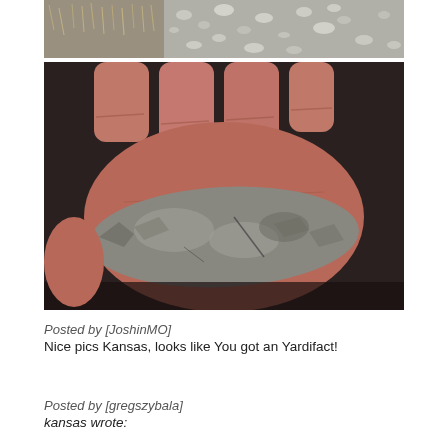[Figure (photo): Top photo showing gravel/small rocks and dry grass on the ground, viewed from above]
[Figure (photo): Main photo of a hand holding a large gray flint/chert stone artifact (possible arrowhead or scraper tool)]
Posted by [JoshinMO]
Nice pics Kansas, looks like You got an Yardifact!
Posted by [gregszybala]
kansas wrote: